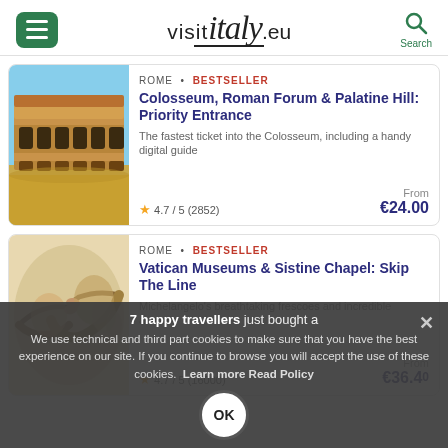visit italy .eu
ROME · BESTSELLER
Colosseum, Roman Forum & Palatine Hill: Priority Entrance
The fastest ticket into the Colosseum, including a handy digital guide
★ 4.7 / 5 (2852)
From €24.00
ROME · BESTSELLER
Vatican Museums & Sistine Chapel: Skip The Line
Michelangelo's breathtaking frescoes and incredible artwork
★ 4.7 / 5 (16000+)
From €36.40
7 happy travellers just bought a
We use technical and third part cookies to make sure that you have the best experience on our site. If you continue to browse you will accept the use of these cookies. Learn more Read Policy OK